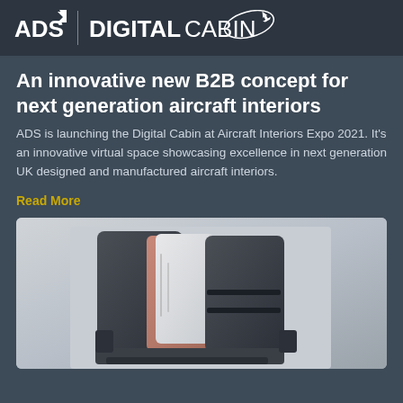ADS | DIGITAL CABIN
An innovative new B2B concept for next generation aircraft interiors
ADS is launching the Digital Cabin at Aircraft Interiors Expo 2021. It’s an innovative virtual space showcasing excellence in next generation UK designed and manufactured aircraft interiors.
Read More
[Figure (photo): Luxury aircraft interior seat design, showing a modern business class seat with white and copper/rose gold tones and dark trim]